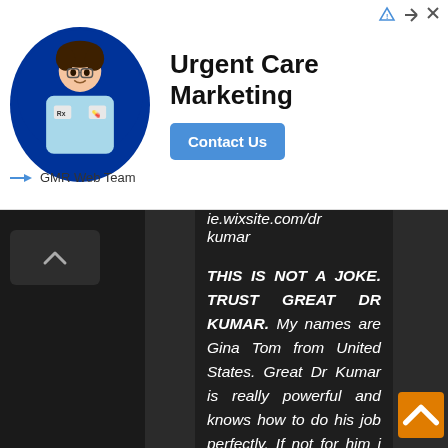[Figure (screenshot): Ad banner for Urgent Care Marketing by GMR Web Team, with a circular avatar photo of a young person in medical attire, a bold title 'Urgent Care Marketing', a blue 'Contact Us' button, and the publisher name 'GMR Web Team'. Top-right corner has ad indicator icons.]
ie.wixsite.com/dr kumar
THIS IS NOT A JOKE. TRUST GREAT DR KUMAR. My names are Gina Tom from United States. Great Dr Kumar is really powerful and knows how to do his job perfectly. If not for him i could not imagine what would have happened. My ex was always picking up an argument with me and was always